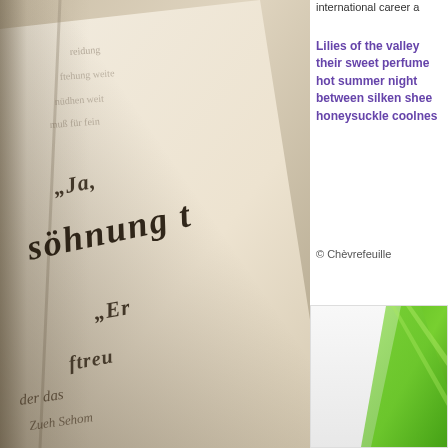[Figure (photo): Close-up photograph of an old book with German blackletter/Fraktur script text, warm sepia tone, pages fanning open, text partially visible including 'söhnung', 'Ja,', 'Er', 'streu', 'der', 'das']
international career a
Lilies of the valley their sweet perfume hot summer night between silken shee honeysuckle coolnes
© Chèvrefeuille
[Figure (photo): Close-up photograph of bright green plant leaves or grass blades]